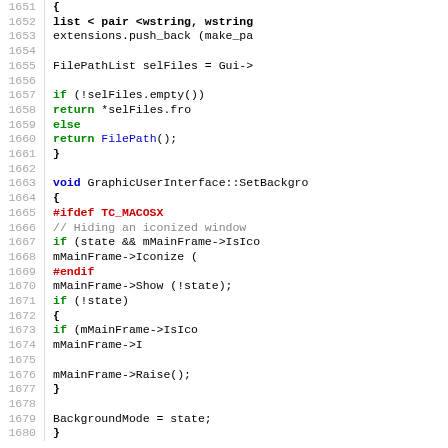[Figure (screenshot): Source code listing lines 1651-1680 showing C++ code for GraphicUserInterface methods with syntax highlighting: keywords in blue/green/red, comments in gray, identifiers in black, preprocessor directives in red.]